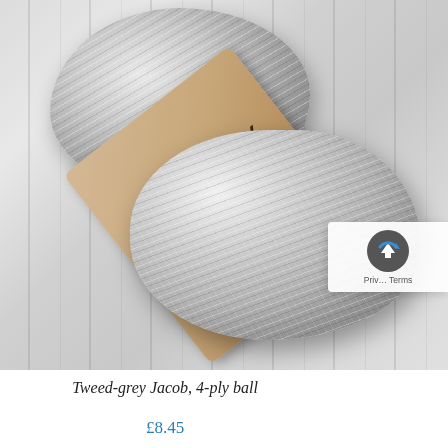[Figure (photo): Two balls of grey Jacob 4-ply organic wool from Tamarisk Farm, with a tan paper label reading 'JACOB 4 PLY / Tamarisk Farm / ~ Organic Wool ~', resting on a white striped fabric background.]
Tweed-grey Jacob, 4-ply ball
£8.45